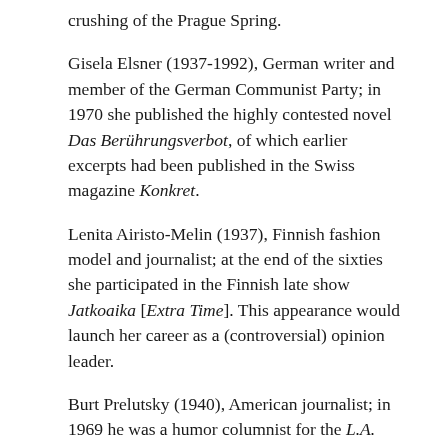crushing of the Prague Spring.
Gisela Elsner (1937-1992), German writer and member of the German Communist Party; in 1970 she published the highly contested novel Das Berührungsverbot, of which earlier excerpts had been published in the Swiss magazine Konkret.
Lenita Airisto-Melin (1937), Finnish fashion model and journalist; at the end of the sixties she participated in the Finnish late show Jatkoaika [Extra Time]. This appearance would launch her career as a (controversial) opinion leader.
Burt Prelutsky (1940), American journalist; in 1969 he was a humor columnist for the L.A. Times; in the same year he was involved as a script writer for the Dragnet television series.